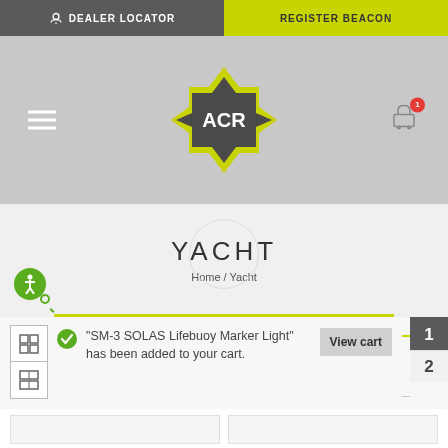DEALER LOCATOR | REGISTER BEACON
[Figure (logo): ACR brand logo — dark grey cross/star shape with lime green outline, white ACR text in center]
YACHT
Home / Yacht
"SM-3 SOLAS Lifebuoy Marker Light" has been added to your cart.
View cart
1
2